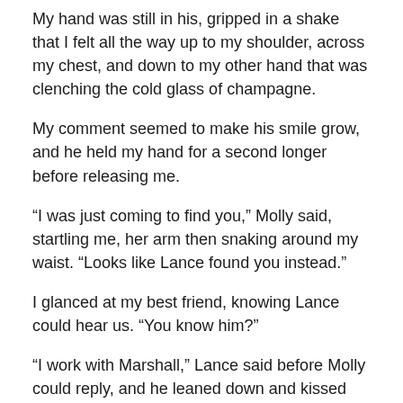My hand was still in his, gripped in a shake that I felt all the way up to my shoulder, across my chest, and down to my other hand that was clenching the cold glass of champagne.
My comment seemed to make his smile grow, and he held my hand for a second longer before releasing me.
“I was just coming to find you,” Molly said, startling me, her arm then snaking around my waist. “Looks like Lance found you instead.”
I glanced at my best friend, knowing Lance could hear us. “You know him?”
“I work with Marshall,” Lance said before Molly could reply, and he leaned down and kissed her on the cheek. “Nice to see you, Molly.”